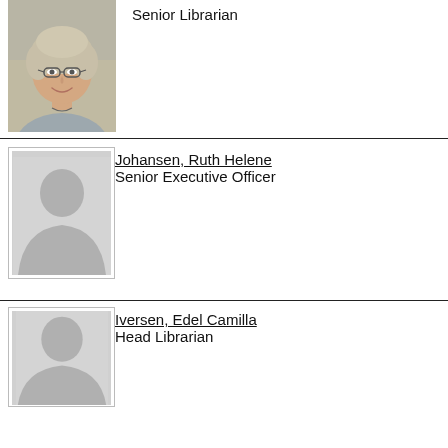Senior Librarian
[Figure (photo): Portrait photo of a smiling older woman with short light hair and glasses, wearing a gray sweater]
Johansen, Ruth Helene
Senior Executive Officer
[Figure (photo): Placeholder silhouette portrait image]
Iversen, Edel Camilla
Head Librarian
[Figure (photo): Placeholder silhouette portrait image]